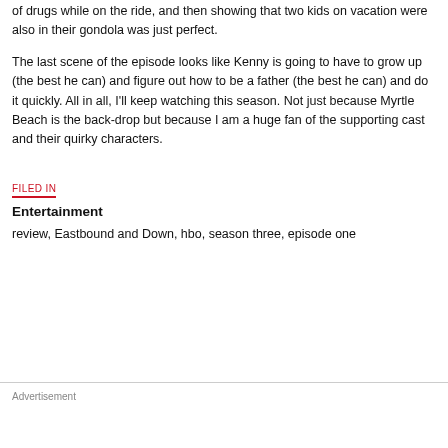of drugs while on the ride, and then showing that two kids on vacation were also in their gondola was just perfect.
The last scene of the episode looks like Kenny is going to have to grow up (the best he can) and figure out how to be a father (the best he can) and do it quickly. All in all, I'll keep watching this season. Not just because Myrtle Beach is the back-drop but because I am a huge fan of the supporting cast and their quirky characters.
FILED IN
Entertainment
review, Eastbound and Down, hbo, season three, episode one
Advertisement